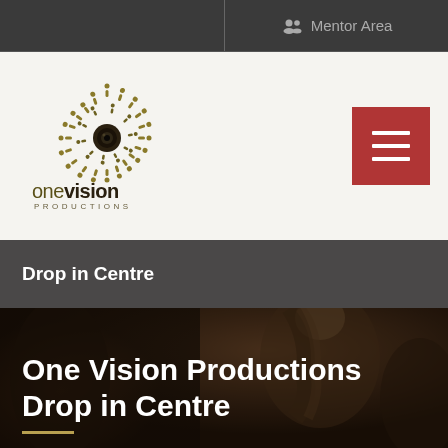Mentor Area
[Figure (logo): One Vision Productions logo — circular arrangement of gold figures holding hands forming a spiral, with a dark eye/camera lens in the center. Below reads 'onevision' in dark olive/gold lowercase and 'PRODUCTIONS' in small caps.]
Drop in Centre
[Figure (photo): Background photo of young people working together, with a woman with braided hair leaning over, looking at something. Dark warm-toned overlay.]
One Vision Productions Drop in Centre